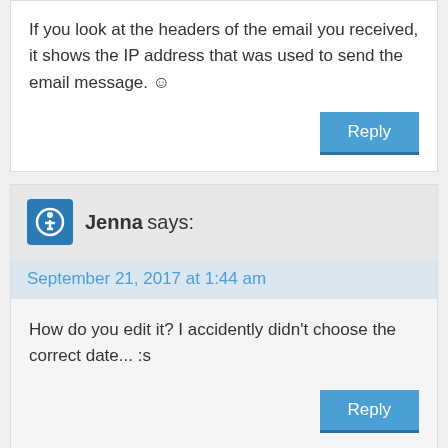If you look at the headers of the email you received, it shows the IP address that was used to send the email message. ☺
Reply
Jenna says:
September 21, 2017 at 1:44 am
How do you edit it? I accidently didn't choose the correct date... :s
Reply
InMotionFan says: